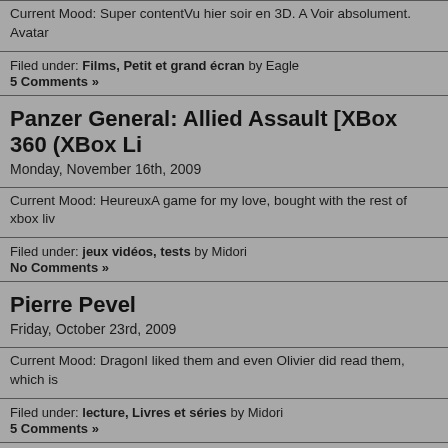Current Mood: Super contentVu hier soir en 3D. A Voir absolument. Avatar
Filed under: Films, Petit et grand écran by Eagle
5 Comments »
Panzer General: Allied Assault [XBox 360 (XBox Li
Monday, November 16th, 2009
Current Mood: HeureuxA game for my love, bought with the rest of xbox liv
Filed under: jeux vidéos, tests by Midori
No Comments »
Pierre Pevel
Friday, October 23rd, 2009
Current Mood: DragonI liked them and even Olivier did read them, which is
Filed under: lecture, Livres et séries by Midori
5 Comments »
Jouer avec l'histoire
Friday, October 23rd, 2009
Current Mood: StudieuxSome times ago, I bought a book titled "Jouer avec